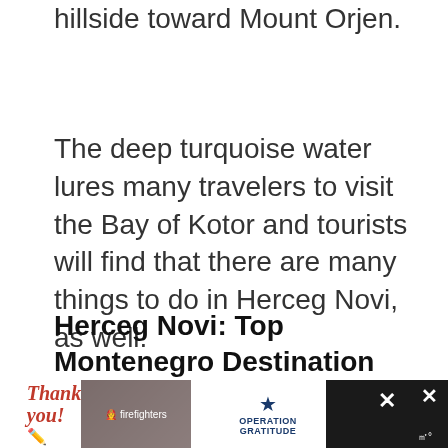hillside toward Mount Orjen.
The deep turquoise water lures many travelers to visit the Bay of Kotor and tourists will find that there are many things to do in Herceg Novi, as well.
Herceg Novi: Top Montenegro Destination
For travelers planning a trip to Montenegro, Herceg Novi is a top destination. The resort to
[Figure (photo): Advertisement banner at the bottom of the page featuring a 'Thank You' message with firefighters and an Operation Gratitude logo with close buttons.]